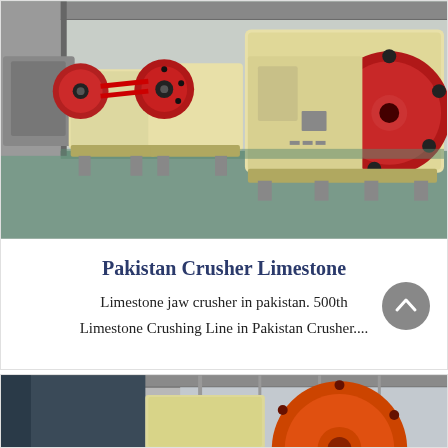[Figure (photo): Row of large industrial jaw crusher machines in cream/beige and red color in a factory setting, viewed from the side in perspective]
Pakistan Crusher Limestone
Limestone jaw crusher in pakistan. 500th Limestone Crushing Line in Pakistan Crusher....
[Figure (photo): Partial view of a second industrial crusher machine in an industrial building, with red/orange colored flywheel visible]